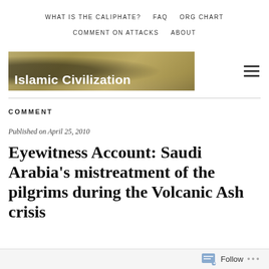WHAT IS THE CALIPHATE?   FAQ   ORG CHART   COMMENT ON ATTACKS   ABOUT
[Figure (photo): Islamic Civilization website banner image with golden-toned historical artwork background and white bold text reading 'Islamic Civilization']
COMMENT
Published on April 25, 2010
Eyewitness Account: Saudi Arabia's mistreatment of the pilgrims during the Volcanic Ash crisis